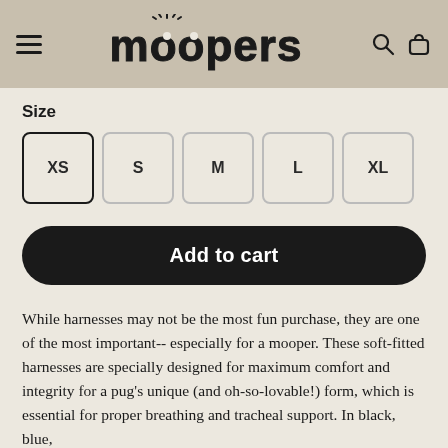moopers
Size
XS S M L XL (size selector buttons)
Add to cart
While harnesses may not be the most fun purchase, they are one of the most important-- especially for a mooper. These soft-fitted harnesses are specially designed for maximum comfort and integrity for a pug's unique (and oh-so-lovable!) form, which is essential for proper breathing and tracheal support. In black, blue,